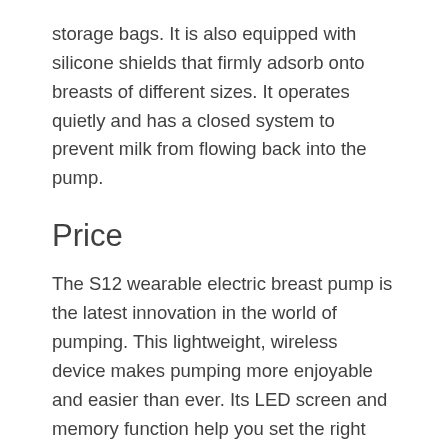storage bags. It is also equipped with silicone shields that firmly adsorb onto breasts of different sizes. It operates quietly and has a closed system to prevent milk from flowing back into the pump.
Price
The S12 wearable electric breast pump is the latest innovation in the world of pumping. This lightweight, wireless device makes pumping more enjoyable and easier than ever. Its LED screen and memory function help you set the right suction level and ensure the best possible comfort and ease. The S12 wearable breast pumps are easy to use, unlike other pumps that require cords.